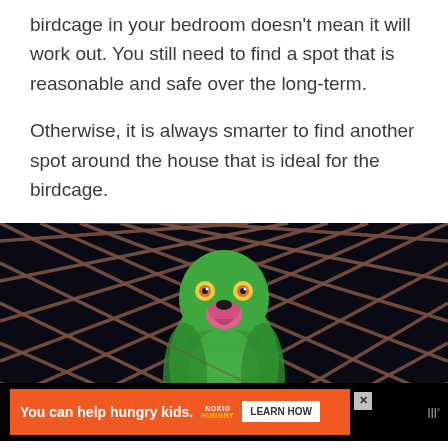birdcage in your bedroom doesn't mean it will work out. You still need to find a spot that is reasonable and safe over the long-term.
Otherwise, it is always smarter to find another spot around the house that is ideal for the birdcage.
[Figure (photo): A green parrot (Indian ringneck or similar species) seen through a metal diamond-mesh cage against a dark background. The bird has a pink/red beak and is looking forward through the cage.]